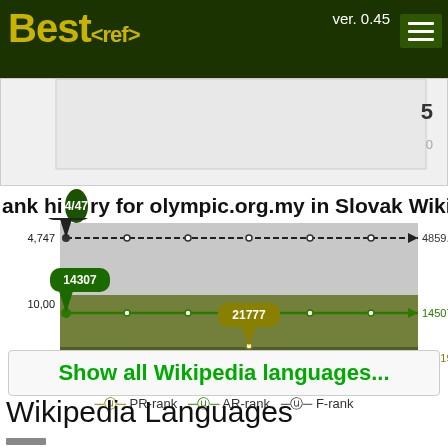Best<ref> ver. 0.45
[Figure (continuous-plot): Partial chart top showing y-axis values 5 and 0]
ank history for olympic.org.my in Slovak Wikiped
[Figure (line-chart): Rank history for olympic.org.my in Slovak Wikipedia]
Show all Wikipedia languages...
Wikipedia Languages